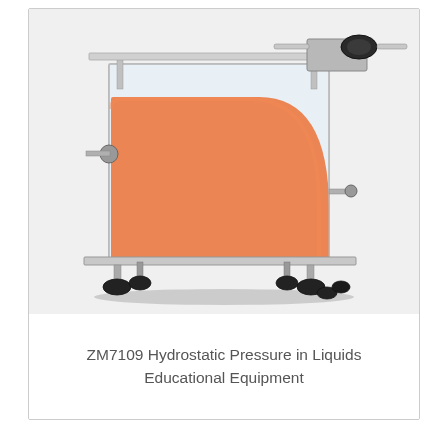[Figure (photo): A hydrostatic pressure educational equipment apparatus (ZM7109). The device features a clear acrylic/perspex rectangular tank with an orange quarter-circle curved surface panel inside. The tank is mounted on a metal frame with four adjustable black rubber feet. A precision screw mechanism with a black handle is mounted at the top right. Metal support rods and adjustment screws are visible on the sides. The apparatus sits on a white background.]
ZM7109 Hydrostatic Pressure in Liquids Educational Equipment